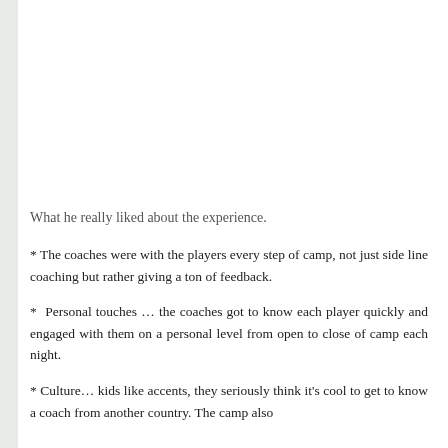What he really liked about the experience.
* The coaches were with the players every step of camp, not just side line coaching but rather giving a ton of feedback.
* Personal touches … the coaches got to know each player quickly and engaged with them on a personal level from open to close of camp each night.
* Culture… kids like accents, they seriously think it's cool to get to know a coach from another country. The camp also